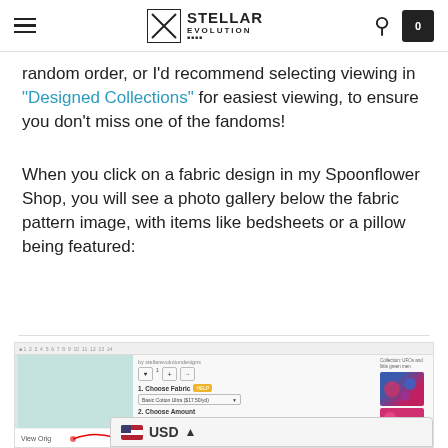STELLAR EVOLUTION (logo)
random order, or I'd recommend selecting viewing in "Designed Collections" for easiest viewing, to ensure you don't miss one of the fandoms!
When you click on a fabric design in my Spoonflower Shop, you will see a photo gallery below the fabric pattern image, with items like bedsheets or a pillow being featured:
[Figure (screenshot): Screenshot of a Spoonflower fabric shop page showing an alien-pattern fabric with options to choose fabric type and amount, total $9.45, and an Add to Cart button. A USD currency selector overlay is visible at the bottom.]